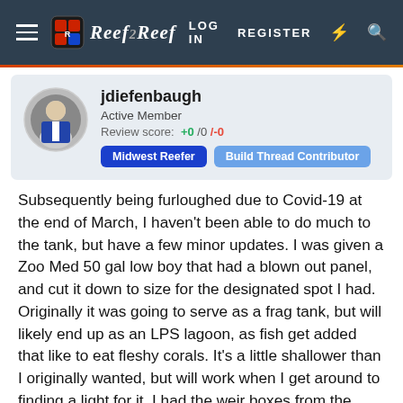Reef2Reef — LOG IN  REGISTER
jdiefenbaugh
Active Member
Review score: +0 /0 /-0
Midwest Reefer  Build Thread Contributor
Subsequently being furloughed due to Covid-19 at the end of March, I haven't been able to do much to the tank, but have a few minor updates. I was given a Zoo Med 50 gal low boy that had a blown out panel, and cut it down to size for the designated spot I had. Originally it was going to serve as a frag tank, but will likely end up as an LPS lagoon, as fish get added that like to eat fleshy corals. It's a little shallower than I originally wanted, but will work when I get around to finding a light for it. I had the weir boxes from the tank, so I cut 1 down and installed a Herbie overflow.